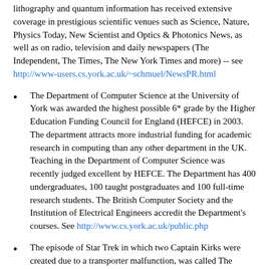lithography and quantum information has received extensive coverage in prestigious scientific venues such as Science, Nature, Physics Today, New Scientist and Optics & Photonics News, as well as on radio, television and daily newspapers (The Independent, The Times, The New York Times and more) -- see http://www-users.cs.york.ac.uk/~schmuel/NewsPR.html
The Department of Computer Science at the University of York was awarded the highest possible 6* grade by the Higher Education Funding Council for England (HEFCE) in 2003. The department attracts more industrial funding for academic research in computing than any other department in the UK. Teaching in the Department of Computer Science was recently judged excellent by HEFCE. The Department has 400 undergraduates, 100 taught postgraduates and 100 full-time research students. The British Computer Society and the Institution of Electrical Engineers accredit the Department's courses. See http://www.cs.york.ac.uk/public.php
The episode of Star Trek in which two Captain Kirks were created due to a transporter malfunction, was called The Enemy...